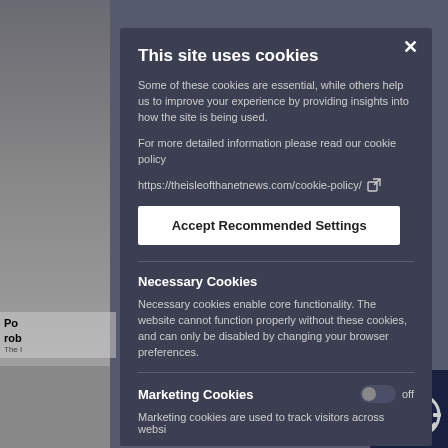This site uses cookies
Some of these cookies are essential, while others help us to improve your experience by providing insights into how the site is being used.
For more detailed information please read our cookie policy
https://theisleofthanetnews.com/cookie-policy/
Accept Recommended Settings
Necessary Cookies
Necessary cookies enable core functionality. The website cannot function properly without these cookies, and can only be disabled by changing your browser preferences.
Marketing Cookies
Marketing cookies are used to track visitors across websi